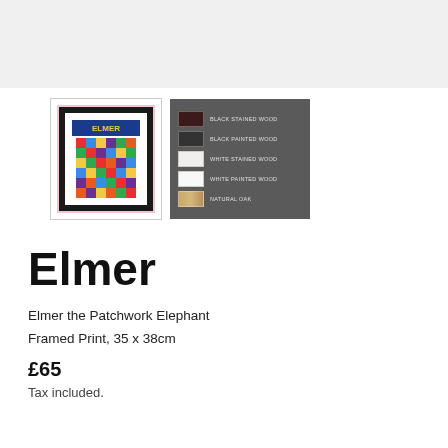[Figure (photo): Top gray banner area, product thumbnail showing Elmer the Patchwork Elephant framed print with pink mat, and frame color options panel showing Black Stained Wood, Black Painted Wood, White Stained Wood, White Painted Wood, Natural Oak swatches on dark gray background]
Elmer
Elmer the Patchwork Elephant
Framed Print, 35 x 38cm
£65
Tax included.